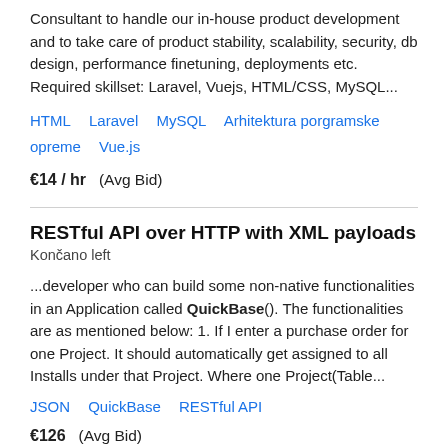Consultant to handle our in-house product development and to take care of product stability, scalability, security, db design, performance finetuning, deployments etc. Required skillset: Laravel, Vuejs, HTML/CSS, MySQL...
HTML   Laravel   MySQL   Arhitektura porgramske opreme   Vue.js
€14 / hr   (Avg Bid)
RESTful API over HTTP with XML payloads
Končano left
...developer who can build some non-native functionalities in an Application called QuickBase(). The functionalities are as mentioned below: 1. If I enter a purchase order for one Project. It should automatically get assigned to all Installs under that Project. Where one Project(Table...
JSON   QuickBase   RESTful API
€126   (Avg Bid)